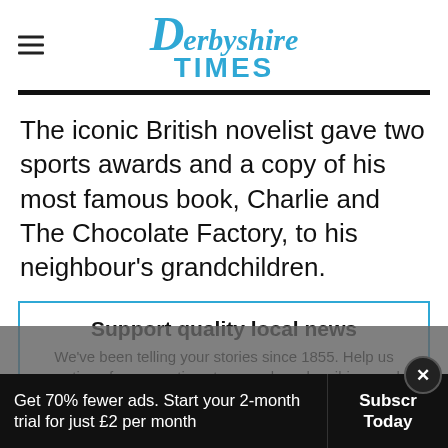Derbyshire Times
The iconic British novelist gave two sports awards and a copy of his most famous book, Charlie and The Chocolate Factory, to his neighbour's grandchildren.
Support quality local news
We've been telling your stories since 1855. Help us continue for generations to come by subscribing, and get access to the ad-lite version of our website with 70% fewer ads.
Get 70% fewer ads. Start your 2-month trial for just £2 per month   Subscribe Today